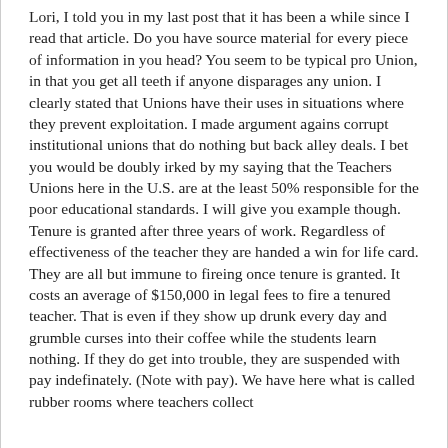Lori, I told you in my last post that it has been a while since I read that article. Do you have source material for every piece of information in you head? You seem to be typical pro Union, in that you get all teeth if anyone disparages any union. I clearly stated that Unions have their uses in situations where they prevent exploitation. I made argument agains corrupt institutional unions that do nothing but back alley deals. I bet you would be doubly irked by my saying that the Teachers Unions here in the U.S. are at the least 50% responsible for the poor educational standards. I will give you example though. Tenure is granted after three years of work. Regardless of effectiveness of the teacher they are handed a win for life card. They are all but immune to fireing once tenure is granted. It costs an average of $150,000 in legal fees to fire a tenured teacher. That is even if they show up drunk every day and grumble curses into their coffee while the students learn nothing. If they do get into trouble, they are suspended with pay indefinately. (Note with pay). We have here what is called rubber rooms where teachers collect